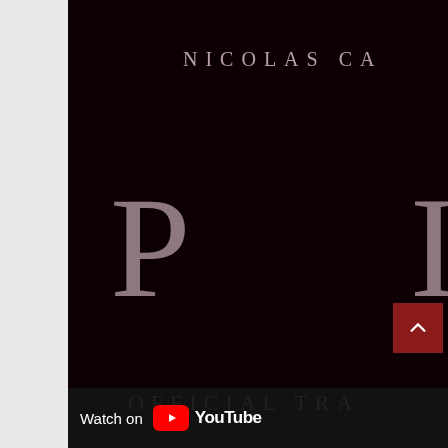[Figure (screenshot): Movie trailer thumbnail/screenshot. Dark maroon-black background with large letters 'P' and 'I' partially visible. Text reads 'NICOLAS CA' at top (cropped), large letters 'P' and 'I' in center, 'OFFICIAL TRA' at bottom (cropped). A red scroll-to-top button in bottom right. YouTube 'Watch on YouTube' bar at very bottom. Left edge shows light gray sidebar/scrollbar area.]
Watch on YouTube